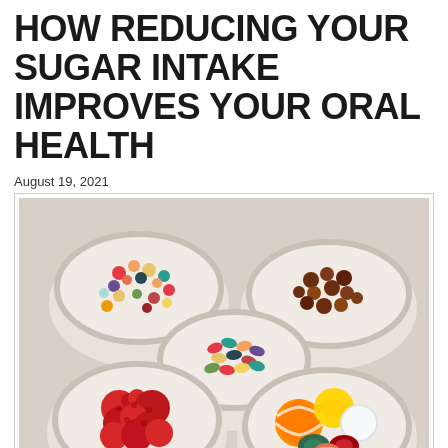HOW REDUCING YOUR SUGAR INTAKE IMPROVES YOUR ORAL HEALTH
August 19, 2021
[Figure (photo): Five white fluted ceramic bowls filled with various colorful candies including gummy bears, jelly beans, hard candies, lollipops, and raspberry gummies, arranged on a light surface.]
Reducing your daily sugar intake can take some significant effort, but it is also well worthwhile.